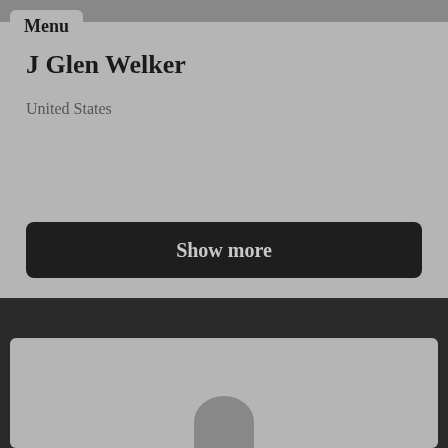Menu
J Glen Welker
United States
Show more
[Figure (photo): Partial profile photo of a person, bottom card section]